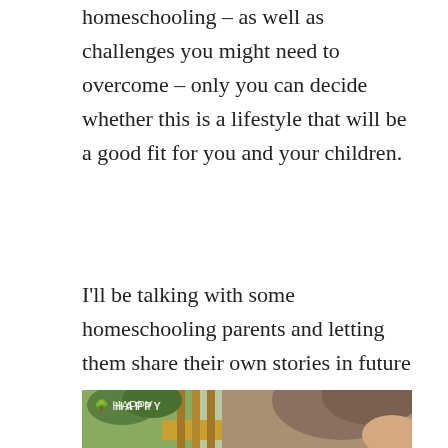homeschooling – as well as challenges you might need to overcome – only you can decide whether this is a lifestyle that will be a good fit for you and your children.
I'll be talking with some homeschooling parents and letting them share their own stories in future weeks.
[Figure (photo): A young boy with brown hair looking downward, seated near a wooden window with green trees visible outside. A watermark reading 'HAPPY' with a tree icon is visible in the upper left of the photo.]